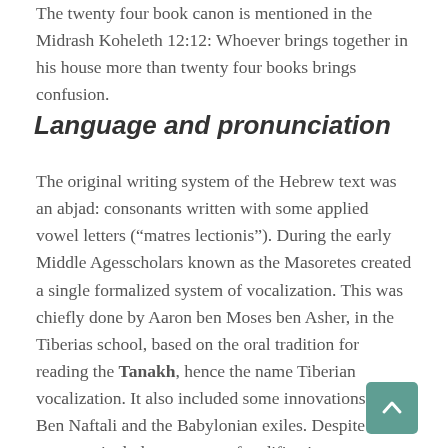The twenty four book canon is mentioned in the Midrash Koheleth 12:12: Whoever brings together in his house more than twenty four books brings confusion.
Language and pronunciation
The original writing system of the Hebrew text was an abjad: consonants written with some applied vowel letters (“matres lectionis”). During the early Middle Agesscholars known as the Masoretes created a single formalized system of vocalization. This was chiefly done by Aaron ben Moses ben Asher, in the Tiberias school, based on the oral tradition for reading the Tanakh, hence the name Tiberian vocalization. It also included some innovations of Ben Naftali and the Babylonian exiles. Despite the comparatively late process of codification, some traditional sources and some Orthodox Jews hold the pronunciation and cantillation to